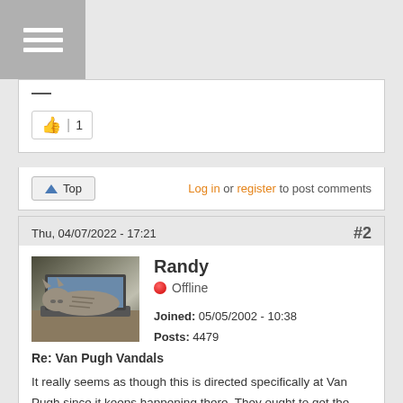[Figure (screenshot): Hamburger menu icon (three horizontal white lines on gray background)]
—
👍 | 1
▲ Top
Log in or register to post comments
Thu, 04/07/2022 - 17:21   #2
[Figure (photo): Avatar photo of a cat lying on a laptop keyboard]
Randy
Offline
Joined: 05/05/2002 - 10:38
Posts: 4479
Re: Van Pugh Vandals
It really seems as though this is directed specifically at Van Pugh since it keeps happening there. They ought to get the local news media involved in reporting this - it might result in someone coming forward with some info that would help catch whoever is doing this. Raising awareness of the